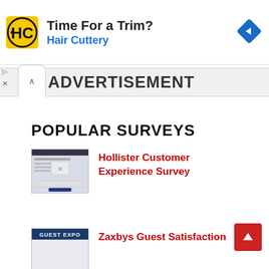[Figure (infographic): Hair Cuttery advertisement banner with yellow logo featuring HC initials, text 'Time For a Trim?' and 'Hair Cuttery', and a blue navigation diamond icon on the right]
▷
✕
ADVERTISEMENT
POPULAR SURVEYS
[Figure (screenshot): Thumbnail screenshot of Hollister Customer Experience Survey webpage]
Hollister Customer Experience Survey
[Figure (screenshot): Thumbnail screenshot of Zaxbys Guest Satisfaction survey webpage with dark blue header]
Zaxbys Guest Satisfaction